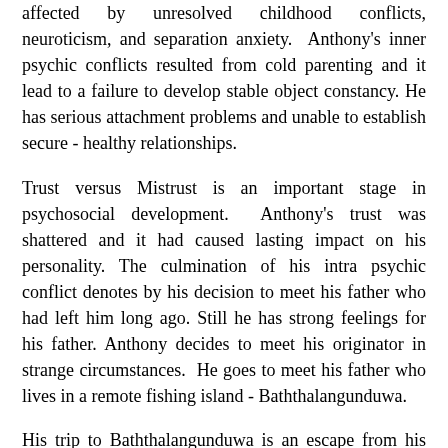affected by unresolved childhood conflicts, neuroticism, and separation anxiety. Anthony's inner psychic conflicts resulted from cold parenting and it lead to a failure to develop stable object constancy. He has serious attachment problems and unable to establish secure - healthy relationships.
Trust versus Mistrust is an important stage in psychosocial development. Anthony's trust was shattered and it had caused lasting impact on his personality. The culmination of his intra psychic conflict denotes by his decision to meet his father who had left him long ago. Still he has strong feelings for his father. Anthony decides to meet his originator in strange circumstances. He goes to meet his father who lives in a remote fishing island - Baththalangunduwa.
His trip to Baththalangunduwa is an escape from his tedious life. It is an escape from reality. He waited a long years for his father to return. But he never came. Now